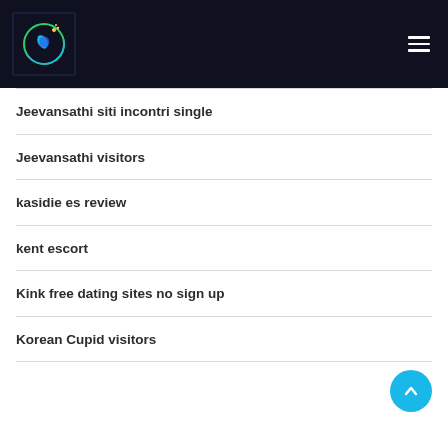Site navigation header with logo and hamburger menu
Jeevansathi siti incontri single
Jeevansathi visitors
kasidie es review
kent escort
Kink free dating sites no sign up
Korean Cupid visitors